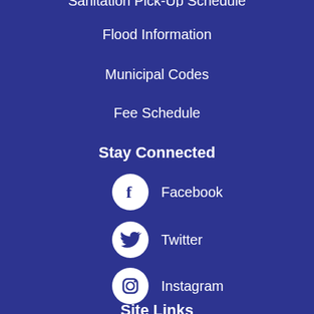Sanitation Pick-Up Schedule
Flood Information
Municipal Codes
Fee Schedule
Stay Connected
Facebook
Twitter
Instagram
YouTube
Site Links
Home
Select Language